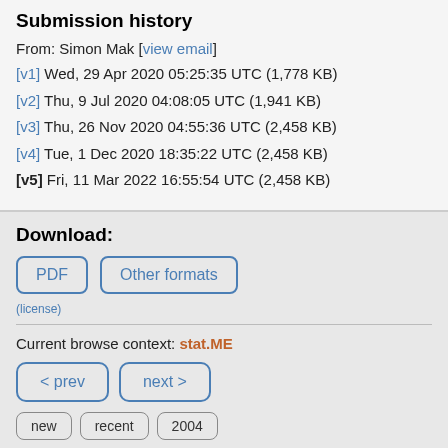Submission history
From: Simon Mak [view email]
[v1] Wed, 29 Apr 2020 05:25:35 UTC (1,778 KB)
[v2] Thu, 9 Jul 2020 04:08:05 UTC (1,941 KB)
[v3] Thu, 26 Nov 2020 04:55:36 UTC (2,458 KB)
[v4] Tue, 1 Dec 2020 18:35:22 UTC (2,458 KB)
[v5] Fri, 11 Mar 2022 16:55:54 UTC (2,458 KB)
Download:
PDF | Other formats
(license)
Current browse context: stat.ME
< prev | next >
new | recent | 2004
Change to browse by: stat
References & Citations
NASA ADS | Google Scholar | Semantic Scholar